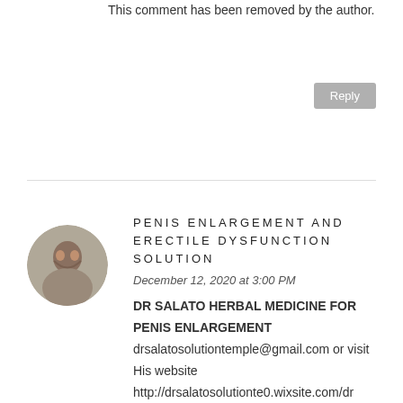This comment has been removed by the author.
Reply
[Figure (photo): Circular avatar photo of a person]
PENIS ENLARGEMENT AND ERECTILE DYSFUNCTION SOLUTION
December 12, 2020 at 3:00 PM
DR SALATO HERBAL MEDICINE FOR PENIS ENLARGEMENT drsalatosolutiontemple@gmail.com or visit His website http://drsalatosolutionte0.wixsite.com/drsalato , you can call/whatsapp him via +2348103629945 hello everyone here i am medical doctor from UK but currently